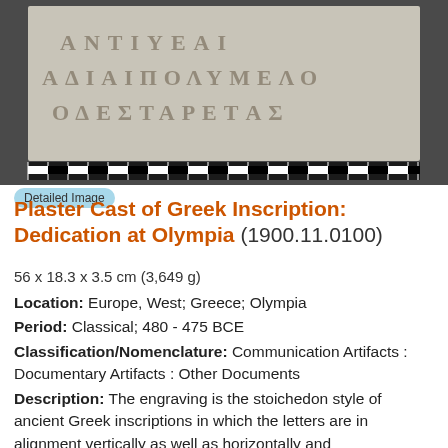[Figure (photo): Photograph of a plaster cast of a Greek inscription showing ancient Greek letters carved in stoichedon style on a stone tablet, with a measurement scale at the bottom.]
Detailed Image
Plaster Cast of Greek Inscription: Dedication at Olympia (1900.11.0100)
56 x 18.3 x 3.5 cm (3,649 g)
Location: Europe, West; Greece; Olympia
Period: Classical; 480 - 475 BCE
Classification/Nomenclature: Communication Artifacts : Documentary Artifacts : Other Documents
Description: The engraving is the stoichedon style of ancient Greek inscriptions in which the letters are in alignment vertically as well as horizontally and